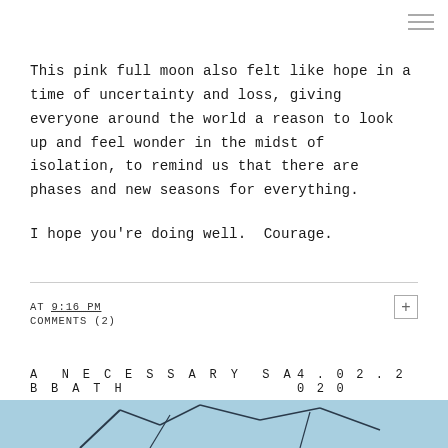This pink full moon also felt like hope in a time of uncertainty and loss, giving everyone around the world a reason to look up and feel wonder in the midst of isolation, to remind us that there are phases and new seasons for everything.

I hope you're doing well.  Courage.
AT 9:16 PM
COMMENTS (2)
A NECESSARY SABBATH
4.02.2020
[Figure (photo): Blue sky background image with dark linear shapes, partially visible at bottom of page]